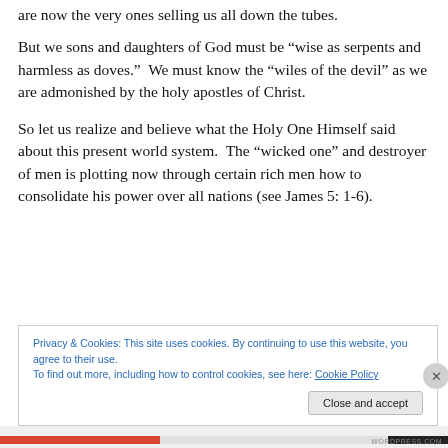are now the very ones selling us all down the tubes.
But we sons and daughters of God must be “wise as serpents and harmless as doves.”  We must know the “wiles of the devil” as we are admonished by the holy apostles of Christ.
So let us realize and believe what the Holy One Himself said about this present world system.  The “wicked one” and destroyer of men is plotting now through certain rich men how to consolidate his power over all nations (see James 5: 1-6).
Privacy & Cookies: This site uses cookies. By continuing to use this website, you agree to their use.
To find out more, including how to control cookies, see here: Cookie Policy